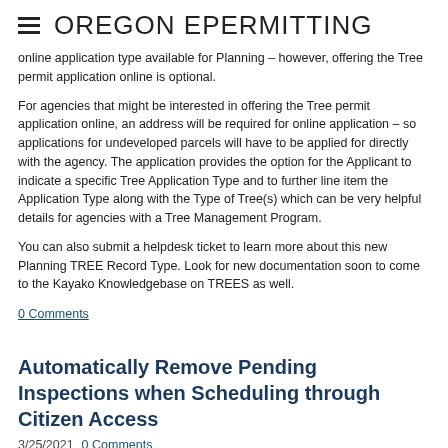OREGON EPERMITTING
online application type available for Planning – however, offering the Tree permit application online is optional.
For agencies that might be interested in offering the Tree permit application online, an address will be required for online application – so applications for undeveloped parcels will have to be applied for directly with the agency. The application provides the option for the Applicant to indicate a specific Tree Application Type and to further line item the Application Type along with the Type of Tree(s) which can be very helpful details for agencies with a Tree Management Program.
You can also submit a helpdesk ticket to learn more about this new Planning TREE Record Type. Look for new documentation soon to come to the Kayako Knowledgebase on TREES as well.
0 Comments
Automatically Remove Pending Inspections when Scheduling through Citizen Access
3/25/2021  0 Comments